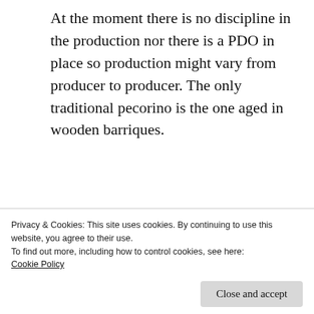At the moment there is no discipline in the production nor there is a PDO in place so production might vary from producer to producer. The only traditional pecorino is the one aged in wooden barriques.
[Figure (photo): Two cheese-makers in white uniforms working in a cheese factory with steam/mist, handling rounds of cheese on a large worktable.]
[Figure (photo): Many white cylindrical molds filled with fresh cheese (pecorino) arranged on a production surface, with large white containers in the background.]
Privacy & Cookies: This site uses cookies. By continuing to use this website, you agree to their use.
To find out more, including how to control cookies, see here:
Cookie Policy
Close and accept